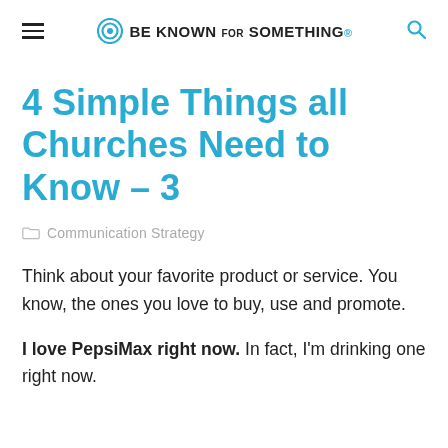BE KNOWN FOR SOMETHING.
4 Simple Things all Churches Need to Know – 3
Communication Strategy
Think about your favorite product or service. You know, the ones you love to buy, use and promote.
I love PepsiMax right now. In fact, I'm drinking one right now.